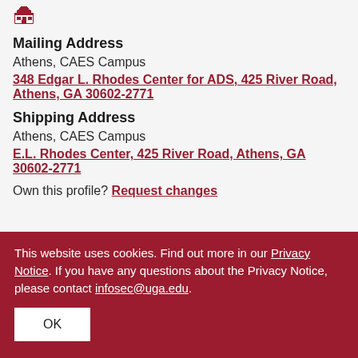[Figure (logo): Red UGA/building icon at top left]
Mailing Address
Athens, CAES Campus
348 Edgar L. Rhodes Center for ADS, 425 River Road, Athens, GA 30602-2771
Shipping Address
Athens, CAES Campus
E.L. Rhodes Center, 425 River Road, Athens, GA 30602-2771
Own this profile? Request changes
This website uses cookies. Find out more in our Privacy Notice. If you have any questions about the Privacy Notice, please contact infosec@uga.edu.
OK